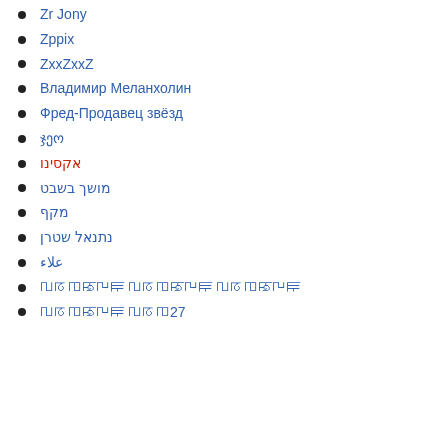Zr Jony
Zppix
ZxxZxxZ
Владимир Меланхолин
Фред-Продавец звёзд
ჯეო
אקסינו
מושך בשבט
מקף
נתנאל שטרן
علاء
ꡃꡞꡄꡐꡖꡀ ꡃꡞꡄꡐꡖꡀ ꡃꡞꡄꡐꡖꡀ
ꡃꡞꡄꡐꡖꡀ ꡃꡞꡄ27